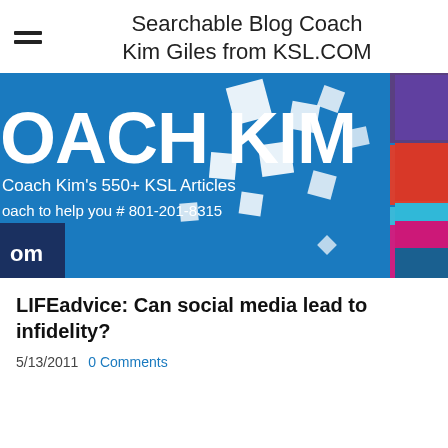Searchable Blog Coach Kim Giles from KSL.COM
[Figure (illustration): Coach Kim banner image with blue background, white squares/rectangles scattered, text 'COACH KIM', 'Coach Kim's 550+ KSL Articles', 'Coach to help you # 801-201-8315', colored blocks on right (purple, red, teal, pink, dark blue), KSL.COM logo bottom left]
LIFEadvice: Can social media lead to infidelity?
5/13/2011  0 Comments